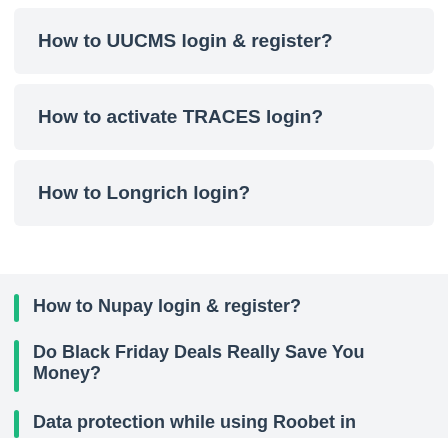How to UUCMS login & register?
How to activate TRACES login?
How to Longrich login?
How to Nupay login & register?
Do Black Friday Deals Really Save You Money?
Data protection while using Roobet in